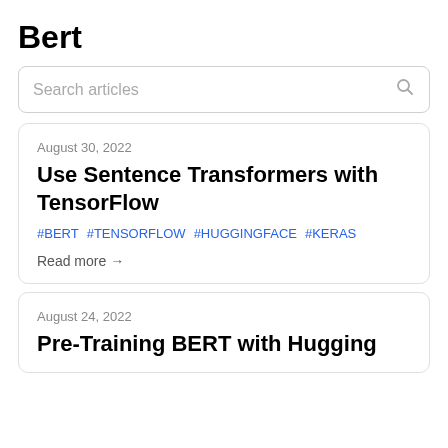Bert
Search articles
August 30, 2022
Use Sentence Transformers with TensorFlow
#BERT #TENSORFLOW #HUGGINGFACE #KERAS
Read more →
August 24, 2022
Pre-Training BERT with Hugging